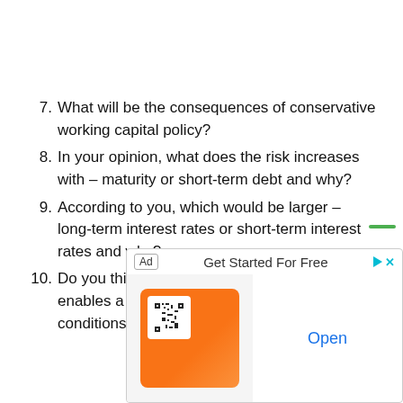7. What will be the consequences of conservative working capital policy?
8. In your opinion, what does the risk increases with – maturity or short-term debt and why?
9. According to you, which would be larger – long-term interest rates or short-term interest rates and why?
10. Do you think that an adequate working capital enables a firm to exploit of favourable market conditions? Support your answer with proper